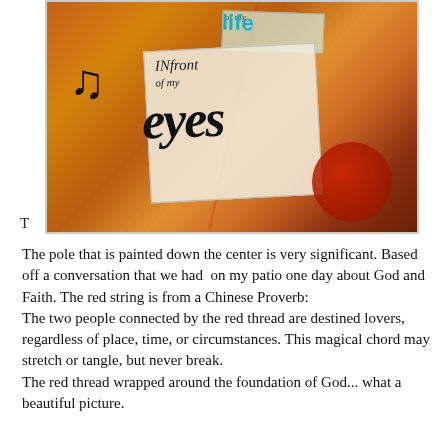[Figure (photo): Art journal photo showing a painted and collaged mixed-media piece with text reading 'In front of my eyes' in decorative lettering, on an orange/golden painted background with a red circle element and various collaged paper pieces.]
The pole that is painted down the center is very significant. Based off a conversation that we had  on my patio one day about God and Faith. The red string is from a Chinese Proverb:
The two people connected by the red thread are destined lovers, regardless of place, time, or circumstances. This magical chord may stretch or tangle, but never break.
The red thread wrapped around the foundation of God... what a beautiful picture.